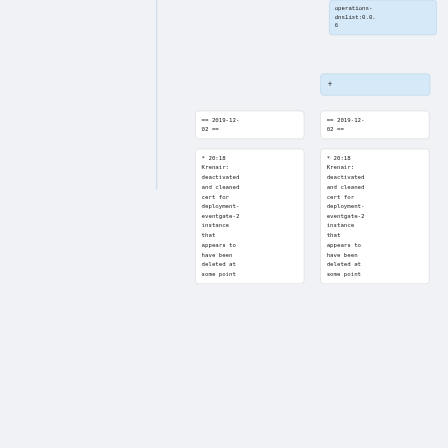operations-dnslist:0.0.6
+
== 2019-12-02 ==
== 2019-12-02 ==
* 20:18 Krenair: deactivated and cleaned cert for deployment-eventgate-2 instance that appears to have been deleted at some point
* 20:18 Krenair: deactivated and cleaned cert for deployment-eventgate-2 instance that appears to have been deleted at some point